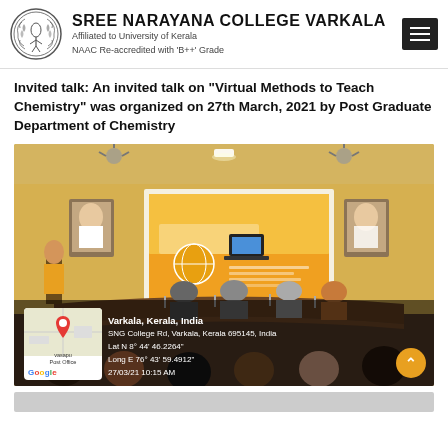SREE NARAYANA COLLEGE VARKALA — Affiliated to University of Kerala — NAAC Re-accredited with 'B++' Grade
Invited talk: An invited talk on "Virtual Methods to Teach Chemistry" was organized on 27th March, 2021 by Post Graduate Department of Chemistry
[Figure (photo): Photograph of an invited talk session in a seminar hall at Sree Narayana College Varkala. A speaker stands at a podium on the left, presenting a slideshow titled 'Virtual Methods to Teach Chemistry' projected on a large screen. Several faculty members are seated at a curved table on a stage, and students are visible from behind in the foreground. Yellow walls and portraits on the wall are visible. A Google Maps location overlay is shown at the bottom left with coordinates: Varkala, Kerala, India; SNG College Rd, Varkala, Kerala 695145, India; Lat N 8° 44' 46.2264"; Long E 76° 43' 59.4912"; 27/03/21 10:15 AM.]